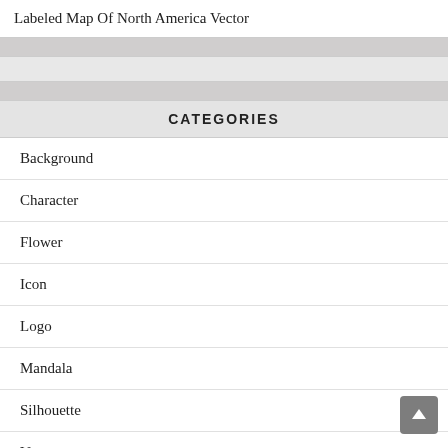Labeled Map Of North America Vector
CATEGORIES
Background
Character
Flower
Icon
Logo
Mandala
Silhouette
Vector